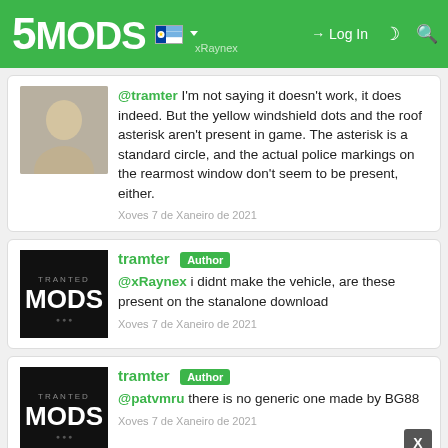5MODS xRaynex Log In
@tramter I'm not saying it doesn't work, it does indeed. But the yellow windshield dots and the roof asterisk aren't present in game. The asterisk is a standard circle, and the actual police markings on the rearmost window don't seem to be present, either.
Xoves 7 de Xaneiro de 2021
tramter Author
@xRaynex i didnt make the vehicle, are these present on the stanalone download
Xoves 7 de Xaneiro de 2021
tramter Author
@patvmru there is no generic one made by BG88
Xoves 7 de Xaneiro de 2021
xRaynex
I'm just saying it's different from the screenshots